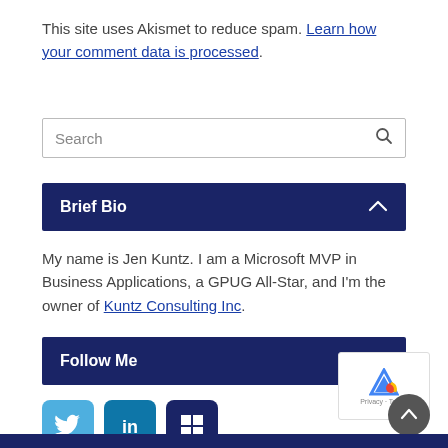This site uses Akismet to reduce spam. Learn how your comment data is processed.
Search
Brief Bio
My name is Jen Kuntz. I am a Microsoft MVP in Business Applications, a GPUG All-Star, and I'm the owner of Kuntz Consulting Inc.
Follow Me
[Figure (other): Social media icons: Twitter (bird), LinkedIn (in), Windows logo buttons]